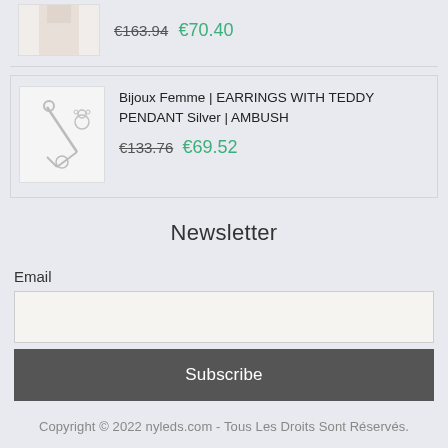[Figure (photo): Partial view of a clothing item on a mannequin, cropped at top]
€163.94 €70.40
[Figure (photo): Silver earrings with teddy bear pendant from AMBUSH brand]
Bijoux Femme | EARRINGS WITH TEDDY PENDANT Silver | AMBUSH
€133.76 €69.52
Newsletter
Email
Subscribe
Copyright © 2022 nyleds.com - Tous Les Droits Sont Réservés.